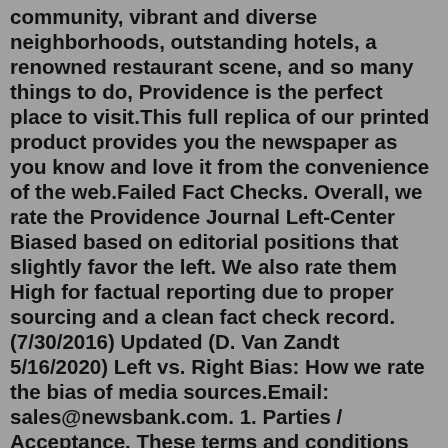community, vibrant and diverse neighborhoods, outstanding hotels, a renowned restaurant scene, and so many things to do, Providence is the perfect place to visit.This full replica of our printed product provides you the newspaper as you know and love it from the convenience of the web.Failed Fact Checks. Overall, we rate the Providence Journal Left-Center Biased based on editorial positions that slightly favor the left. We also rate them High for factual reporting due to proper sourcing and a clean fact check record. (7/30/2016) Updated (D. Van Zandt 5/16/2020) Left vs. Right Bias: How we rate the bias of media sources.Email: sales@newsbank.com. 1. Parties / Acceptance. These terms and conditions (the "Terms and Conditions") are a contract between you as an individual licensee and NewsBank, inc., a Delaware corporation having its principal place of business at 5801 Pelican Bay Boulevard, Suite 600, Naples, Florida 34108 ("NewsBank"), as licensor. By accessing ...This full replica of our printed product provides you the newspaper as you know and love it